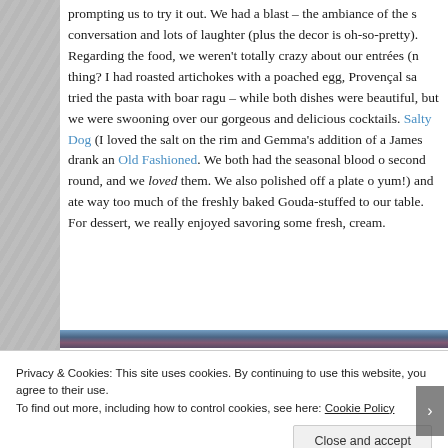prompting us to try it out. We had a blast – the ambiance of the s conversation and lots of laughter (plus the decor is oh-so-pretty). Regarding the food, we weren't totally crazy about our entrées (n thing? I had roasted artichokes with a poached egg, Provençal sa tried the pasta with boar ragu – while both dishes were beautiful, but we were swooning over our gorgeous and delicious cocktails. Salty Dog (I loved the salt on the rim and Gemma's addition of a James drank an Old Fashioned. We both had the seasonal blood o second round, and we loved them. We also polished off a plate o yum!) and ate way too much of the freshly baked Gouda-stuffed to our table. For dessert, we really enjoyed savoring some fresh, cream.
[Figure (photo): Partial view of a food or restaurant photo, cropped at bottom of visible content area]
Privacy & Cookies: This site uses cookies. By continuing to use this website, you agree to their use.
To find out more, including how to control cookies, see here: Cookie Policy